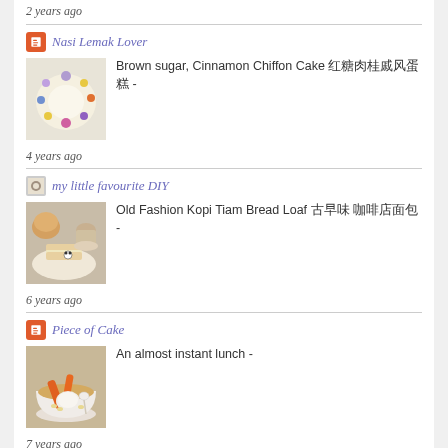2 years ago
Nasi Lemak Lover
Brown sugar, Cinnamon Chiffon Cake 红糖肉桂戚风蛋糕 -
[Figure (photo): A round chiffon cake decorated with colorful edible flowers on top]
4 years ago
my little favourite DIY
Old Fashion Kopi Tiam Bread Loaf 古早味 咖啡店面包 -
[Figure (photo): A sandwich on a floral plate with a cup of coffee in the background]
6 years ago
Piece of Cake
An almost instant lunch -
[Figure (photo): A bowl of soup with vegetables including carrots and what appears to be barley]
7 years ago